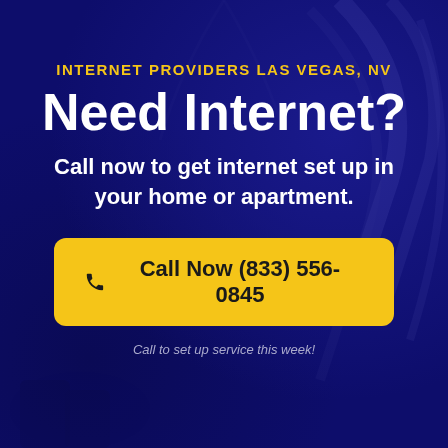INTERNET PROVIDERS LAS VEGAS, NV
Need Internet?
Call now to get internet set up in your home or apartment.
📞 Call Now (833) 556-0845
Call to set up service this week!